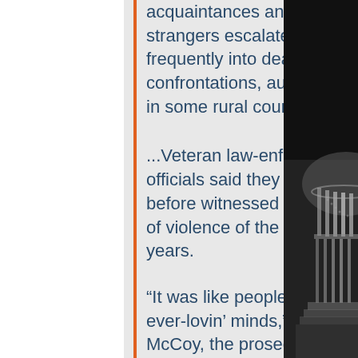acquaintances and even strangers escalated more frequently into deadly confrontations, authorities in some rural counties said.
...Veteran law-enforcement officials said they had never before witnessed the level of violence of the past two years.
“It was like people lost their ever-lovin’ minds,” said Ms. McCoy, the prosecuting attorney in White County, a